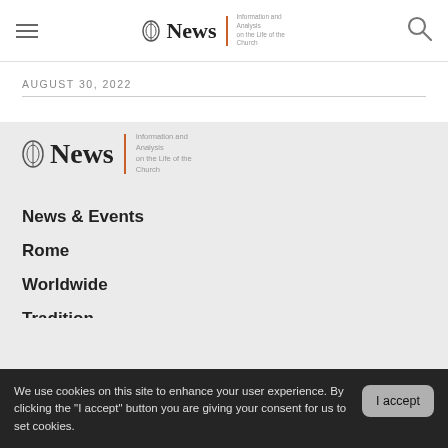News — Information and Analysis on the Life of the Church
AUGUST 30, 2022
[Figure (logo): CNA News logo with icon and tagline 'Information and Analysis on the Life of the Church']
News & Events
Rome
Worldwide
Tradition
Analysis
Media
About CNA/EWTN.NEWS
Help our apostolate!
We use cookies on this site to enhance your user experience. By clicking the "I accept" button you are giving your consent for us to set cookies.